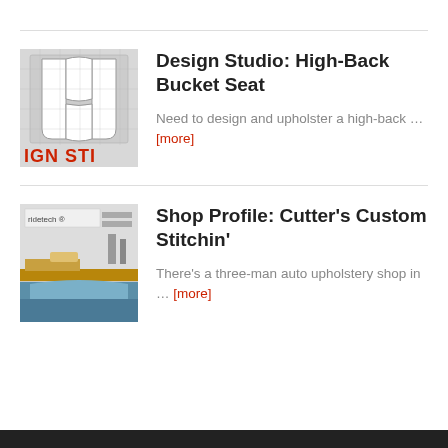[Figure (illustration): Design Studio High-Back Bucket Seat thumbnail showing seat blueprint drawing with IGN STI text in red at bottom]
Design Studio: High-Back Bucket Seat
Need to design and upholster a high-back … [more]
[Figure (photo): Shop interior photo showing a workbench with ridetech banner, auto parts and tools in background]
Shop Profile: Cutter's Custom Stitchin'
There's a three-man auto upholstery shop in … [more]
CATEGORIES